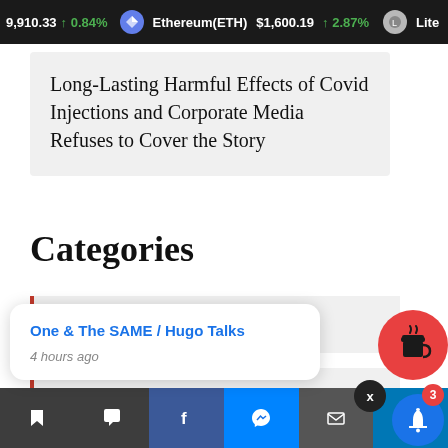9,910.33 ↑ 0.84% Ethereum(ETH) $1,600.19 ↑ 2.87% Lite
Long-Lasting Harmful Effects of Covid Injections and Corporate Media Refuses to Cover the Story
Categories
Books
Culture
One & The SAME / Hugo Talks
4 hours ago